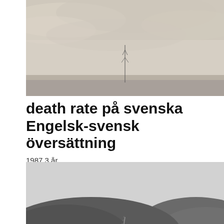[Figure (photo): Black and white/sepia photograph of a misty landscape with a distant tower or mast barely visible against a pale cloudy sky.]
death rate på svenska Engelsk-svensk översättning
1987 3 år.
[Figure (photo): Black and white photograph of rolling hills or mountains with a road or path running along the ridge, overcast sky in background.]